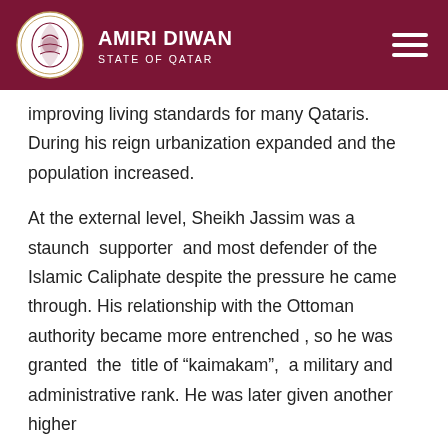AMIRI DIWAN STATE OF QATAR
improving living standards for many Qataris. During his reign urbanization expanded and the population increased.
At the external level, Sheikh Jassim was a staunch supporter and most defender of the Islamic Caliphate despite the pressure he came through. His relationship with the Ottoman authority became more entrenched , so he was granted the title of “kaimakam”, a military and administrative rank. He was later given another higher